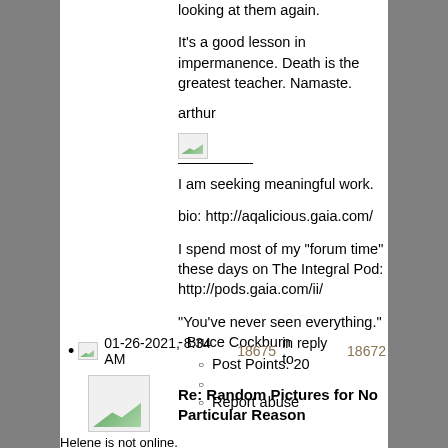looking at them again.
It's a good lesson in impermanence.  Death is the greatest teacher.  Namaste.
arthur
[Figure (other): Broken/missing image icon with divider line below]
I am seeking meaningful work.
bio: http://aqalicious.gaia.com/
I spend most of my "forum time" these days on The Integral Pod: http://pods.gaia.com/ii/
"You've never seen everything." - Bruce Cockburn
Post Points: 20
Report abuse
01-26-2021, 8:34 AM  18675 in reply to 18672
[Figure (other): Avatar broken image for Helene - Helene is not online.]
Re: Random Pictures for No Particular Reason